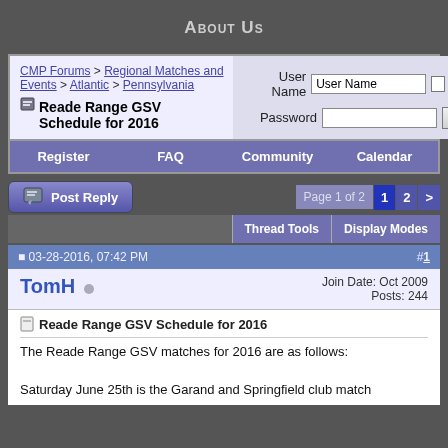About Us
CMP Forums > Regional Matches and Events > Atlantic > Pennsylvania
Reade Range GSV Schedule for 2016
User Name | Password | Remember Me? | Log in
Register | FAQ | Community | Calendar
Post Reply | Page 1 of 2 | 1 | 2 | >
Thread Tools | Display Modes
03-28-2016, 07:42 PM  #1
TomH
Join Date: Oct 2009
Posts: 244
Reade Range GSV Schedule for 2016
The Reade Range GSV matches for 2016 are as follows:

Saturday June 25th is the Garand and Springfield club match